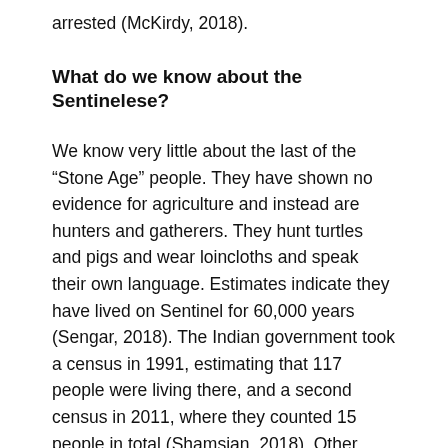arrested (McKirdy, 2018).
What do we know about the Sentinelese?
We know very little about the last of the “Stone Age” people. They have shown no evidence for agriculture and instead are hunters and gatherers. They hunt turtles and pigs and wear loincloths and speak their own language. Estimates indicate they have lived on Sentinel for 60,000 years (Sengar, 2018). The Indian government took a census in 1991, estimating that 117 people were living there, and a second census in 2011, where they counted 15 people in total (Shamsian, 2018). Other current estimates indicate that between fifty and one hundred people live there (Gettleman et al., 2018).
The first documented contact with the Sentinelese came over a thousand years ago by Chinese and Arabian travelers, who tried to land on their island, but were met